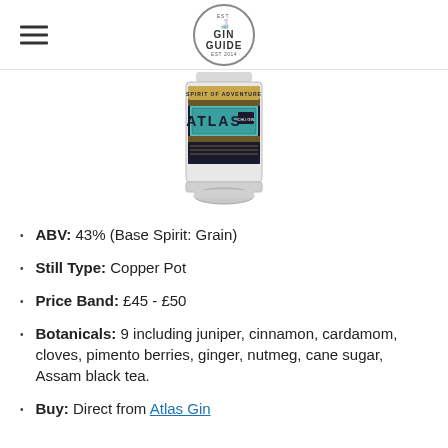GIN GUIDE
[Figure (photo): Atlas Gin bottle with ornate dark label featuring teal 'ATLAS' text and 'Spirit of Adventure' branding]
ABV: 43% (Base Spirit: Grain)
Still Type: Copper Pot
Price Band: £45 - £50
Botanicals: 9 including juniper, cinnamon, cardamom, cloves, pimento berries, ginger, nutmeg, cane sugar, Assam black tea.
Buy: Direct from Atlas Gin